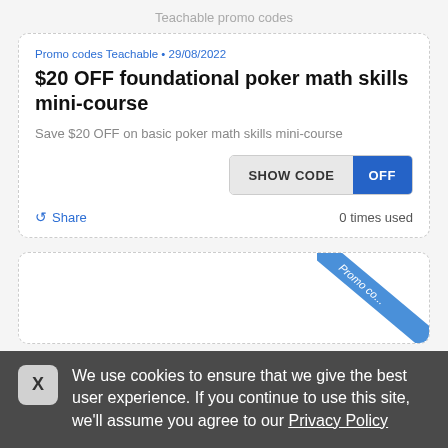Teachable promo codes
Promo codes Teachable • 29/08/2022
$20 OFF foundational poker math skills mini-course
Save $20 OFF on basic poker math skills mini-course
SHOW CODE  OFF
Share   0 times used
[Figure (screenshot): Partial second promo card with blue diagonal ribbon labeled 'Promo co...']
We use cookies to ensure that we give the best user experience. If you continue to use this site, we'll assume you agree to our Privacy Policy